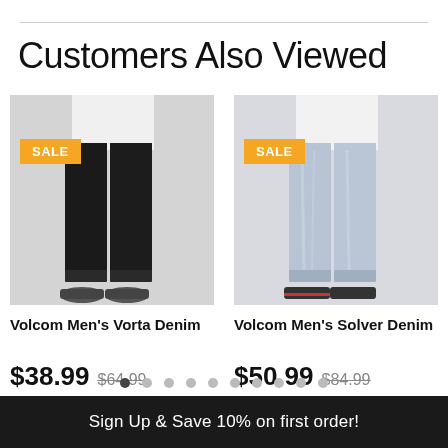Customers Also Viewed
[Figure (photo): Photo of dark black jeans worn by a person, with SALE badge overlay]
Volcom Men's Vorta Denim
$38.99 $64.99
[Figure (photo): Photo of light wash jeans worn by a person, with SALE badge overlay]
Volcom Men's Solver Denim
$50.99 $84.99
Sign Up & Save 10% on first order!